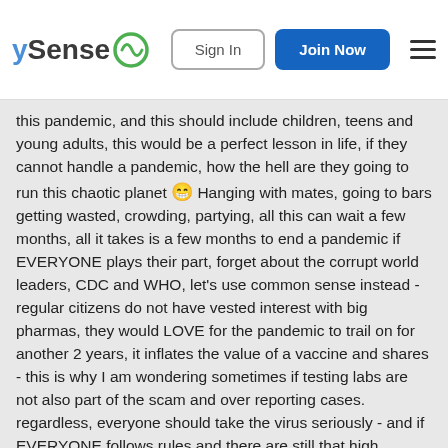ySense | Sign In | Join Now
this pandemic, and this should include children, teens and young adults, this would be a perfect lesson in life, if they cannot handle a pandemic, how the hell are they going to run this chaotic planet 😁 Hanging with mates, going to bars getting wasted, crowding, partying, all this can wait a few months, all it takes is a few months to end a pandemic if EVERYONE plays their part, forget about the corrupt world leaders, CDC and WHO, let's use common sense instead - regular citizens do not have vested interest with big pharmas, they would LOVE for the pandemic to trail on for another 2 years, it inflates the value of a vaccine and shares - this is why I am wondering sometimes if testing labs are not also part of the scam and over reporting cases. regardless, everyone should take the virus seriously - and if EVERYONE follows rules and there are still that high amount of cases, then it is clear what is going on here 😀
Quote: